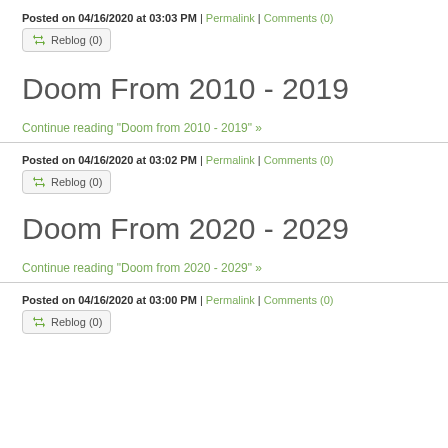Posted on 04/16/2020 at 03:03 PM | Permalink | Comments (0)
Reblog (0)
Doom From 2010 - 2019
Continue reading "Doom from 2010 - 2019" »
Posted on 04/16/2020 at 03:02 PM | Permalink | Comments (0)
Reblog (0)
Doom From 2020 - 2029
Continue reading "Doom from 2020 - 2029" »
Posted on 04/16/2020 at 03:00 PM | Permalink | Comments (0)
Reblog (0)